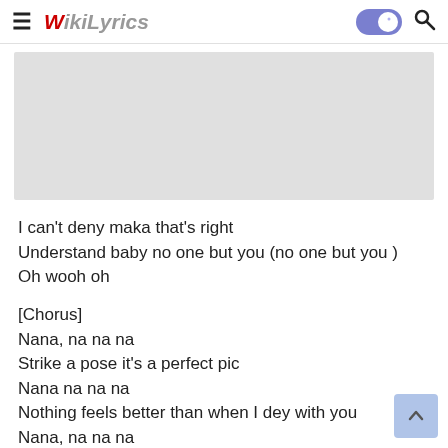WikiLyrics
[Figure (other): Advertisement placeholder box (gray rectangle)]
I can't deny maka that's right
Understand baby no one but you (no one but you )
Oh wooh oh
[Chorus]
Nana, na na na
Strike a pose it's a perfect pic
Nana na na na
Nothing feels better than when I dey with you
Nana, na na na
Oh! baby boo
Na na na na na